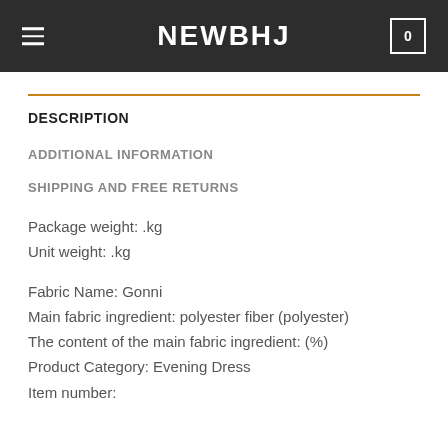NEWBHJ
DESCRIPTION
ADDITIONAL INFORMATION
SHIPPING AND FREE RETURNS
Package weight: .kg
Unit weight: .kg
Fabric Name: Gonni
Main fabric ingredient: polyester fiber (polyester)
The content of the main fabric ingredient: (%)
Product Category: Evening Dress
Item number: